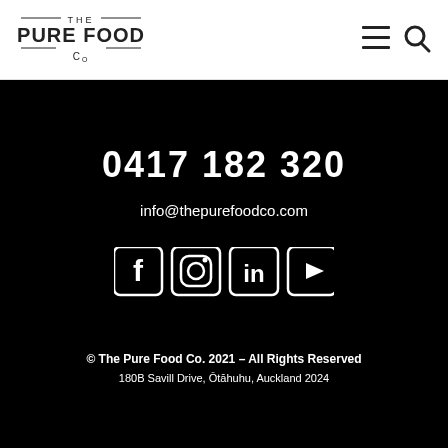[Figure (logo): The Pure Food Co logo with horizontal lines above and below]
[Figure (other): Hamburger menu icon and search icon in header]
0417 182 320
info@thepurefoodco.com
[Figure (other): Social media icons: Facebook, Instagram, LinkedIn, YouTube]
© The Pure Food Co. 2021 – All Rights Reserved
180B Savill Drive, Ōtāhuhu, Auckland 2024